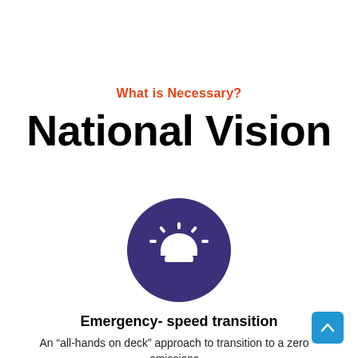What is Necessary?
National Vision
[Figure (illustration): Dark purple circle containing a white emergency siren / alarm bell icon with rays radiating upward]
Emergency- speed transition
An “all-hands on deck” approach to transition to a zero emissions